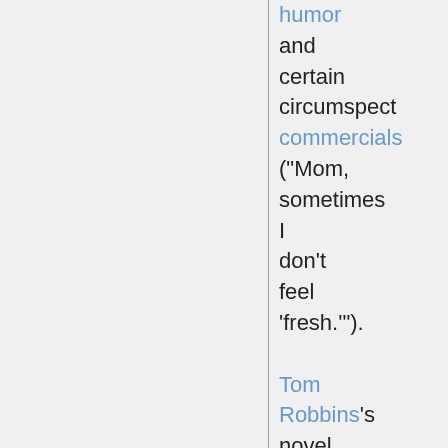humor and certain circumspect commercials ("Mom, sometimes I don't feel 'fresh.'"). Tom Robbins's novel Even Cowgirls